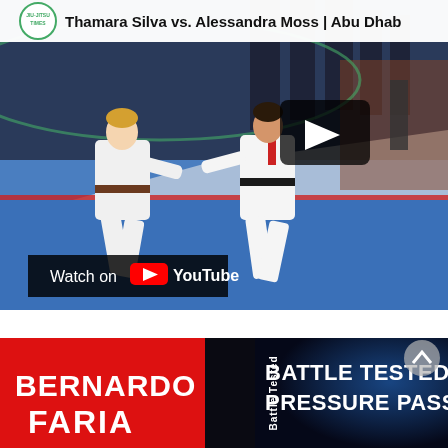[Figure (screenshot): YouTube video thumbnail showing two BJJ/judo athletes grappling in white gis on a blue mat at what appears to be Abu Dhabi tournament. A play button overlay is visible. Top bar shows Jiu-Jitsu Times logo and title 'Thamara Silva vs. Alessandra Moss | Abu Dhab...'. Bottom left shows 'Watch on YouTube' button with YouTube logo.]
[Figure (screenshot): Partial thumbnail of a BJJ instructional video showing 'BERNARDO FARIA' text on red background left side, and 'BATTLE TESTED PRESSURE PASSING' text on right side with blue background. 'Battle Tested' text appears vertically in center.]